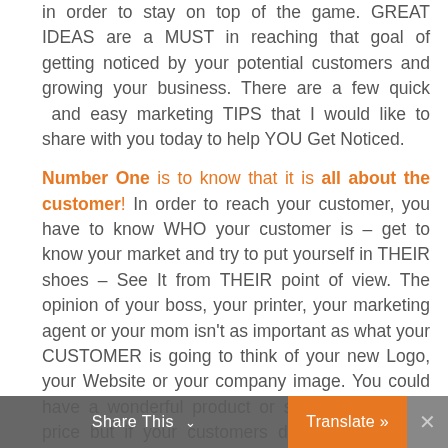in order to stay on top of the game. GREAT IDEAS are a MUST in reaching that goal of getting noticed by your potential customers and growing your business. There are a few quick  and easy marketing TIPS that I would like to share with you today to help YOU Get Noticed.
Number One is to know that it is all about the customer! In order to reach your customer, you have to know WHO your customer is – get to know your market and try to put yourself in THEIR shoes – See It from THEIR point of view. The opinion of your boss, your printer, your marketing agent or your mom isn't as important as what your CUSTOMER is going to think of your new Logo, your Website or your company image. You could have a wonderful product or service at a great price but if your customers don't notice you – what good is it? Make sure you are
Share This   Translate »  ×